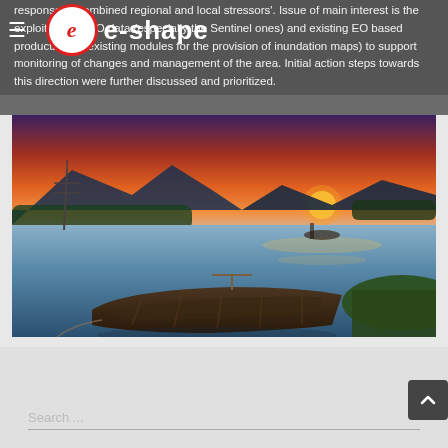response to combined regional and local stressors'. Issue of main interest is the exploitation of EO data (especially the Sentinel ones) and existing EO based products (e.g. existing modules for the provision of inundation maps) to support monitoring of changes and management of the area. Initial action steps towards this direction were further discussed and prioritized.
[Figure (photo): Scenic lake photograph at sunset with a wooden rowing boat moored in the foreground, calm reflective water, green vegetation on the banks, mountains in the background and a vivid orange-red sky.]
Search ...